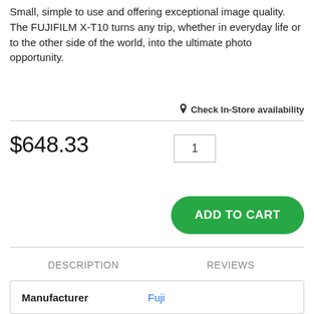Small, simple to use and offering exceptional image quality. The FUJIFILM X-T10 turns any trip, whether in everyday life or to the other side of the world, into the ultimate photo opportunity.
Check In-Store availability
$648.33
1
ADD TO CART
DESCRIPTION
REVIEWS
| Manufacturer | Fuji |
| --- | --- |